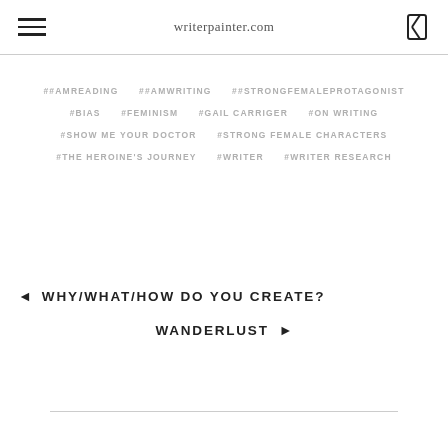writerpainter.com
##AMREADING  ##AMWRITING  ##STRONGFEMALEPROTAGONIST  #BIAS  #FEMINISM  #GAIL CARRIGER  #ON WRITING  #SHOW ME YOUR DOCTOR  #STRONG FEMALE CHARACTERS  #THE HEROINE'S JOURNEY  #WRITER  #WRITER RESEARCH
◄ WHY/WHAT/HOW DO YOU CREATE?
WANDERLUST ►